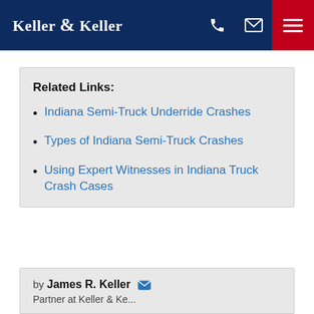Keller & Keller
Related Links:
Indiana Semi-Truck Underride Crashes
Types of Indiana Semi-Truck Crashes
Using Expert Witnesses in Indiana Truck Crash Cases
by James R. Keller